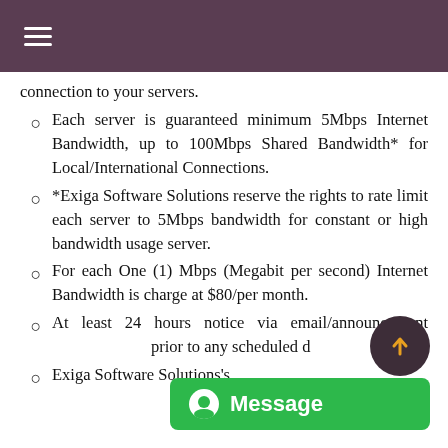≡ (hamburger menu)
connection to your servers.
Each server is guaranteed minimum 5Mbps Internet Bandwidth, up to 100Mbps Shared Bandwidth* for Local/International Connections.
*Exiga Software Solutions reserve the rights to rate limit each server to 5Mbps bandwidth for constant or high bandwidth usage server.
For each One (1) Mbps (Megabit per second) Internet Bandwidth is charge at $80/per month.
At least 24 hours notice via email/announcement prior to any scheduled d...
Exiga Software Solutions's